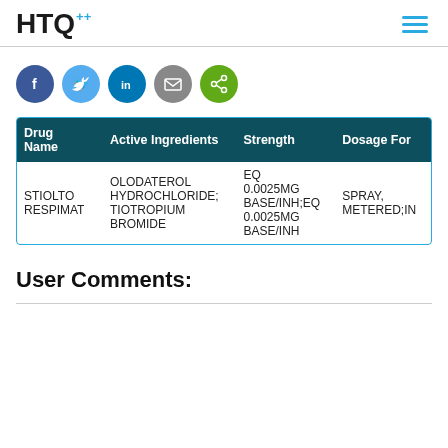HTQ
[Figure (illustration): Social sharing buttons: Facebook, Twitter, LinkedIn, Email, Share]
| Drug Name | Active Ingredients | Strength | Dosage Form |
| --- | --- | --- | --- |
| STIOLTO RESPIMAT | OLODATEROL HYDROCHLORIDE; TIOTROPIUM BROMIDE | EQ 0.0025MG BASE/INH;EQ 0.0025MG BASE/INH | SPRAY, METERED;IN |
User Comments: